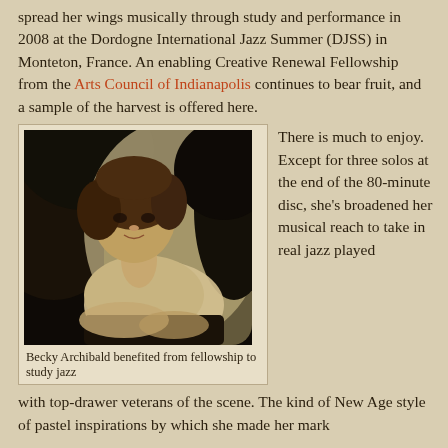spread her wings musically through study and performance in 2008 at the Dordogne International Jazz Summer (DJSS) in Monteton, France. An enabling Creative Renewal Fellowship from the Arts Council of Indianapolis continues to bear fruit, and a sample of the harvest is offered here.
[Figure (photo): Photo of Becky Archibald, a woman with short brown hair leaning on a dark surface, wearing a light knit top, with dark curved shapes in background]
Becky Archibald benefited from fellowship to study jazz
There is much to enjoy. Except for three solos at the end of the 80-minute disc, she's broadened her musical reach to take in real jazz played with top-drawer veterans of the scene. The kind of New Age style of pastel inspirations by which she made her mark